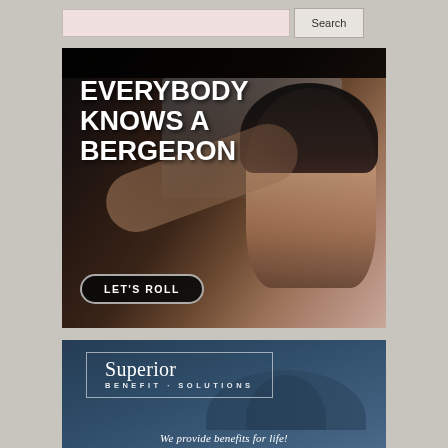[Figure (screenshot): Search bar with text input field and Search button on grey background]
[Figure (photo): Advertisement for Bergeron auto dealership. Dark background with woman smiling in car. Bold white text reads: EVERYBODY KNOWS A BERGERON. Button reads: LET'S ROLL]
[Figure (photo): Advertisement for Superior Benefit Solutions. Dark blue background with people silhouettes. Logo box with text 'Superior BENEFIT SOLUTIONS'. Partial tagline at bottom: 'We provide benefits for life!']